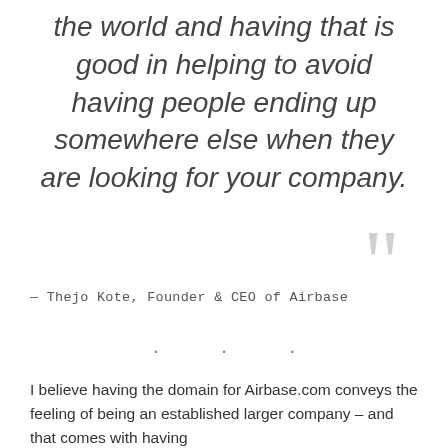the world and having that is good in helping to avoid having people ending up somewhere else when they are looking for your company.
— Thejo Kote, Founder & CEO of Airbase
· · ·
I believe having the domain for Airbase.com conveys the feeling of being an established larger company – and that comes with having